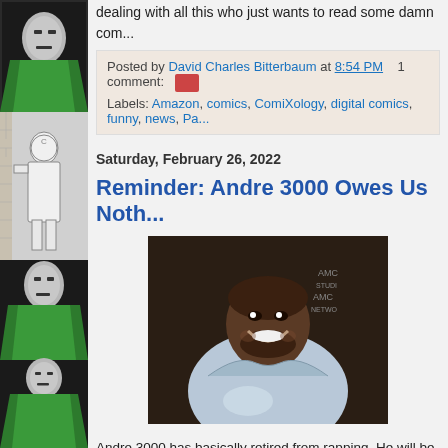[Figure (illustration): Sidebar with repeating comic book panels showing Doctor Doom character in green cloak and other comic illustrations]
dealing with all this who just wants to read some damn com...
Posted by David Charles Bitterbaum at 8:54 PM   1 comment:
Labels: Amazon, comics, ComiXology, digital comics, funny, news, Pa...
Saturday, February 26, 2022
Reminder: Andre 3000 Owes Us Noth...
[Figure (photo): Photo of Andre 3000 smiling in front of a dark background with logos, wearing a light blue hoodie]
Andre 3000 has basically retired from rapping. He will be o...